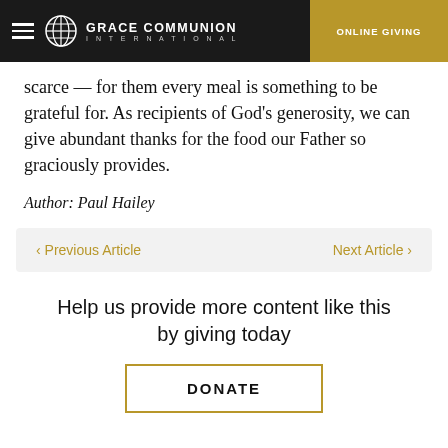GRACE COMMUNION INTERNATIONAL | ONLINE GIVING
scarce — for them every meal is something to be grateful for. As recipients of God's generosity, we can give abundant thanks for the food our Father so graciously provides.
Author: Paul Hailey
< Previous Article   Next Article >
Help us provide more content like this by giving today
DONATE